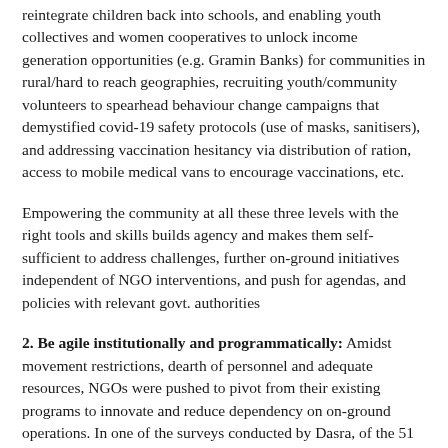reintegrate children back into schools, and enabling youth collectives and women cooperatives to unlock income generation opportunities (e.g. Gramin Banks) for communities in rural/hard to reach geographies, recruiting youth/community volunteers to spearhead behaviour change campaigns that demystified covid-19 safety protocols (use of masks, sanitisers), and addressing vaccination hesitancy via distribution of ration, access to mobile medical vans to encourage vaccinations, etc.
Empowering the community at all these three levels with the right tools and skills builds agency and makes them self-sufficient to address challenges, further on-ground initiatives independent of NGO interventions, and push for agendas, and policies with relevant govt. authorities
2. Be agile institutionally and programmatically: Amidst movement restrictions, dearth of personnel and adequate resources, NGOs were pushed to pivot from their existing programs to innovate and reduce dependency on on-ground operations. In one of the surveys conducted by Dasra, of the 51